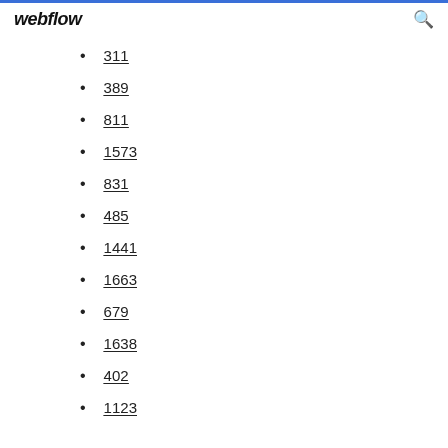webflow
311
389
811
1573
831
485
1441
1663
679
1638
402
1123